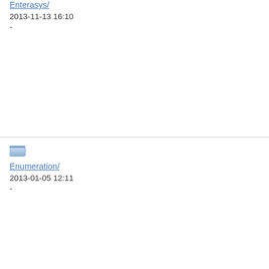Enterasys/ 2013-11-13 16:10 -
Enumeration/ 2013-01-05 12:11 -
Env/ 2020-01-19 17:17 -
[Figure (other): Folder icon]